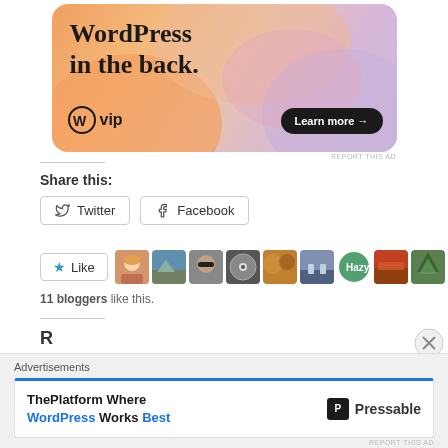[Figure (illustration): WordPress VIP advertisement banner with colorful blob background. Text reads 'WordPress in the back.' with WordPress VIP logo and 'Learn more →' button.]
REPORT THIS AD
Share this:
Twitter
Facebook
[Figure (illustration): Like button with star icon and a row of 9 blogger avatar thumbnails]
11 bloggers like this.
Advertisements
[Figure (illustration): Pressable advertisement: 'ThePlatform Where WordPress Works Best' with Pressable logo]
REPORT THIS AD